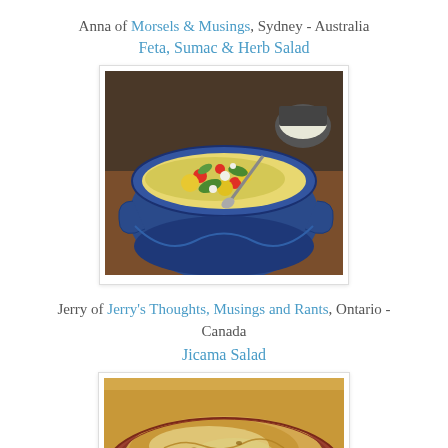Anna of Morsels & Musings, Sydney - Australia
Feta, Sumac & Herb Salad
[Figure (photo): A blue ceramic bowl filled with a colorful salad containing yellow and red peppers, green vegetables, and a spoon, with a small bowl of grated cheese visible in the background on a wooden surface.]
Jerry of Jerry's Thoughts, Musings and Rants, Ontario - Canada
Jicama Salad
[Figure (photo): A close-up of a golden-brown baked dish in a round terracotta or reddish-brown ceramic baking dish, showing a rustic pastry or bread topping dusted with flour.]